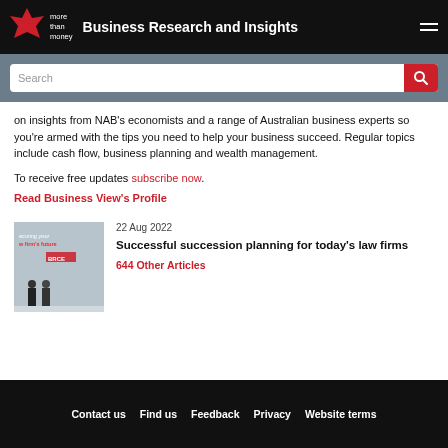Business Research and Insights
on insights from NAB's economists and a range of Australian business experts so you're armed with the tips you need to help your business succeed. Regular topics include cash flow, business planning and wealth management.
To receive free updates subscribe now.
Read Business View's Profile
22 Aug 2022
[Figure (photo): Photo related to succession planning for law firms, showing two people standing in front of a wall with text 'securing your law firm's future']
Successful succession planning for today's law firms
644 Other Articles
Contact us   Find us   Feedback   Privacy   Website terms